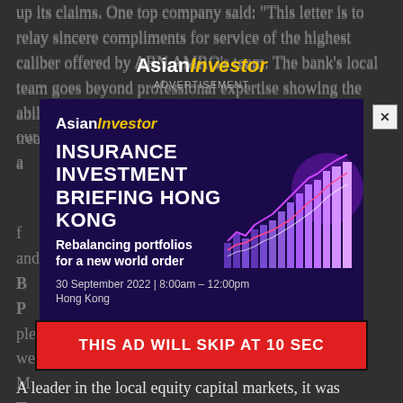up its claims. One top company said: 'This letter is to relay sincere compliments for service of the highest caliber offered by ABN AMRO's team. The bank's local team goes beyond professional expertise showing the ability to ... ship with our treas... 's a...
AsianInvestor
ADVERTISEMENT
[Figure (infographic): AsianInvestor advertisement for Insurance Investment Briefing Hong Kong event. Shows logo, event title 'INSURANCE INVESTMENT BRIEFING HONG KONG', subtitle 'Rebalancing portfolios for a new world order', date '30 September 2022 | 8:00am - 12:00pm, Hong Kong', a Register button in red, and a bar chart graphic with purple bars and trend lines on dark purple background. Close X button in top right.]
THIS AD WILL SKIP AT 10 SEC
A leader in the local equity capital markets, it was